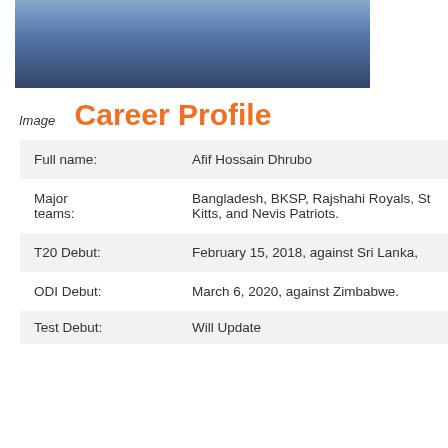[Figure (photo): Partial photo of a cricket player in blue jersey]
Image
Career Profile
| Field | Value |
| --- | --- |
| Full name: | Afif Hossain Dhrubo |
| Major teams: | Bangladesh, BKSP, Rajshahi Royals, St Kitts, and Nevis Patriots. |
| T20 Debut: | February 15, 2018, against Sri Lanka, |
| ODI Debut: | March 6, 2020, against Zimbabwe. |
| Test Debut: | Will Update |